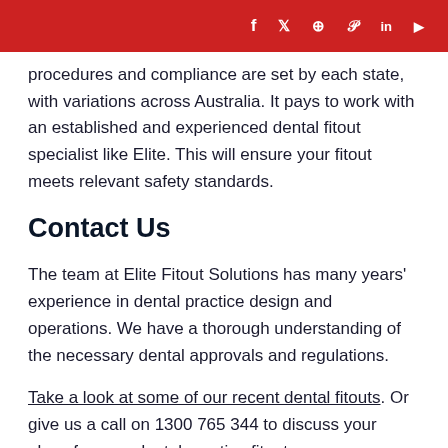f  𝕏  ⊕  𝒫  in  ▶
procedures and compliance are set by each state, with variations across Australia. It pays to work with an established and experienced dental fitout specialist like Elite. This will ensure your fitout meets relevant safety standards.
Contact Us
The team at Elite Fitout Solutions has many years' experience in dental practice design and operations. We have a thorough understanding of the necessary dental approvals and regulations.
Take a look at some of our recent dental fitouts. Or give us a call on 1300 765 344 to discuss your plans for your dental practice fitout or refurbishment.